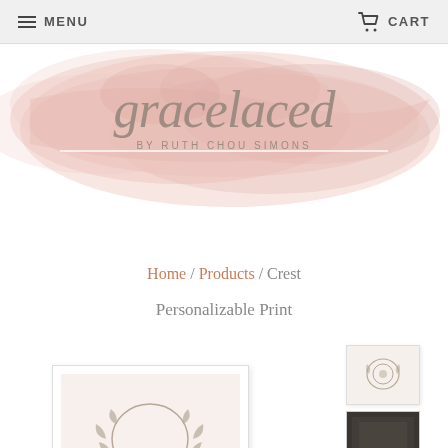MENU   CART
[Figure (logo): Gracelaced by Ruth Chou Simons logo with watercolor pink brushstroke background]
Home / Products / Crest Personalizable Print
[Figure (photo): Main product image showing Crest Personalizable Print in white frame with a botanical wreath design, plus thumbnails]